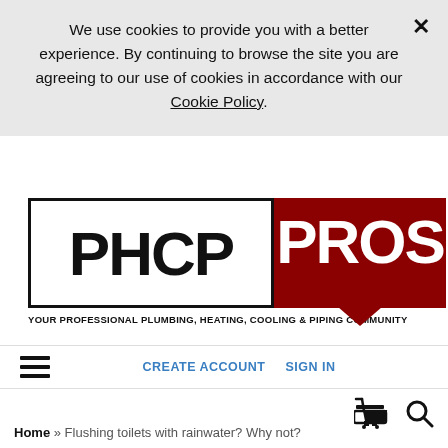We use cookies to provide you with a better experience. By continuing to browse the site you are agreeing to our use of cookies in accordance with our Cookie Policy.
[Figure (logo): PHCP PROS logo — left half has black border with 'PHCP' in black bold text; right half has dark red background with 'PROS' in white bold text styled as speech bubble. Tagline: YOUR PROFESSIONAL PLUMBING, HEATING, COOLING & PIPING COMMUNITY]
CREATE ACCOUNT   SIGN IN
Home » Flushing toilets with rainwater? Why not?